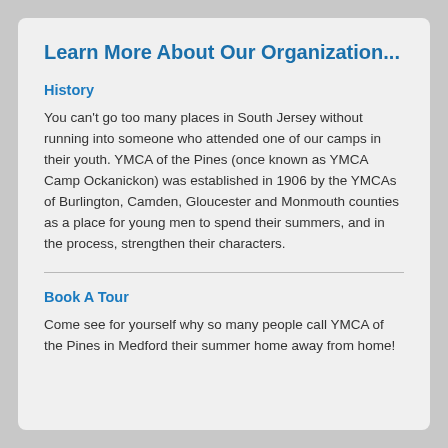Learn More About Our Organization...
History
You can't go too many places in South Jersey without running into someone who attended one of our camps in their youth. YMCA of the Pines (once known as YMCA Camp Ockanickon) was established in 1906 by the YMCAs of Burlington, Camden, Gloucester and Monmouth counties as a place for young men to spend their summers, and in the process, strengthen their characters.
Book A Tour
Come see for yourself why so many people call YMCA of the Pines in Medford their summer home away from home!